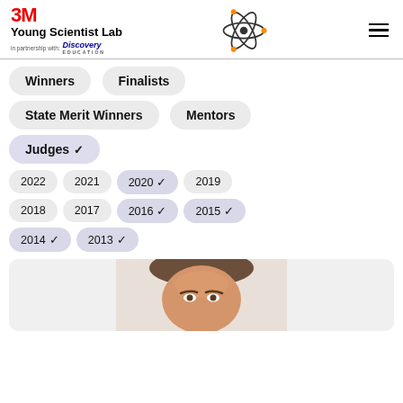3M Young Scientist Lab in partnership with Discovery Education
Winners
Finalists
State Merit Winners
Mentors
Judges ✓
2022
2021
2020 ✓
2019
2018
2017
2016 ✓
2015 ✓
2014 ✓
2013 ✓
[Figure (photo): Photo of a person (judge), partially visible from top of head, shown in a light-colored card area at the bottom of the page]